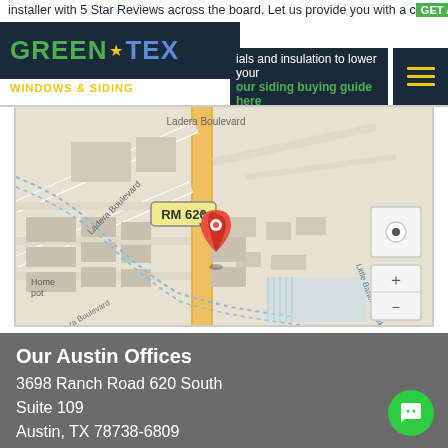installer with 5 Star Reviews across the board. Let us provide you with a comprehensive solution. GET A PRICE CHAT LIVE (512) 900-5946
[Figure (logo): Green Tex Windows & Siding logo with star icon on dark blue background]
[Figure (map): Google Maps screenshot showing location at RM 620 near Ladera Boulevard, Little Barton Creek Tributary, with red map pin marker. Shows Home Depot, Ladera Boulevard, and surrounding streets.]
Our Austin Offices
3698 Ranch Road 620 South
Suite 109
Austin, TX 78738-6809